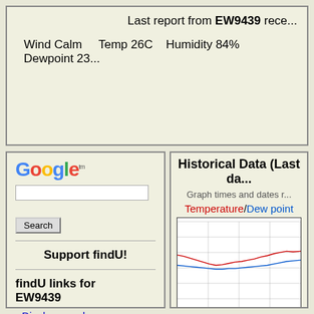Last report from EW9439 rece...
Wind Calm   Temp 26C   Humidity 84%   Dewpoint 23...
[Figure (logo): Google logo with trademark symbol]
Search
Support findU!
findU links for EW9439
- Display panel
Historical Data (Last da...)
Graph times and dates r...
Temperature/Dew point
[Figure (continuous-plot): Temperature and dew point line chart over last day. Red line shows temperature starting around 27C, dipping then rising. Blue line shows dew point running slightly lower and flatter.]